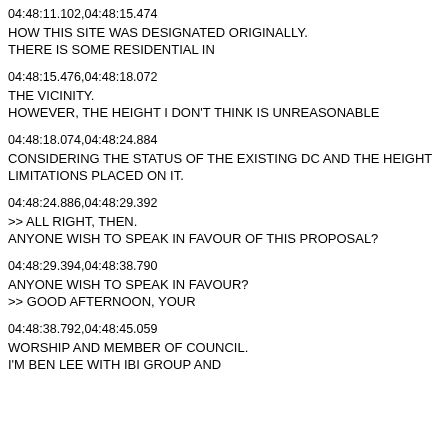04:48:11.102,04:48:15.474
HOW THIS SITE WAS DESIGNATED ORIGINALLY.
THERE IS SOME RESIDENTIAL IN
04:48:15.476,04:48:18.072
THE VICINITY.
HOWEVER, THE HEIGHT I DON'T THINK IS UNREASONABLE
04:48:18.074,04:48:24.884
CONSIDERING THE STATUS OF THE EXISTING DC AND THE HEIGHT LIMITATIONS PLACED ON IT.
04:48:24.886,04:48:29.392
>> ALL RIGHT, THEN.
ANYONE WISH TO SPEAK IN FAVOUR OF THIS PROPOSAL?
04:48:29.394,04:48:38.790
ANYONE WISH TO SPEAK IN FAVOUR?
>> GOOD AFTERNOON, YOUR
04:48:38.792,04:48:45.059
WORSHIP AND MEMBER OF COUNCIL.
I'M BEN LEE WITH IBI GROUP AND